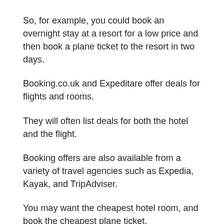So, for example, you could book an overnight stay at a resort for a low price and then book a plane ticket to the resort in two days.
Booking.co.uk and Expeditare offer deals for flights and rooms.
They will often list deals for both the hotel and the flight.
Booking offers are also available from a variety of travel agencies such as Expedia, Kayak, and TripAdviser.
You may want the cheapest hotel room, and book the cheapest plane ticket.
Airport searchesHotel searches are another great way to save on airfares.
You might be able to find deals on airlines and flights online.
You should also check with travel agents to see if the deals